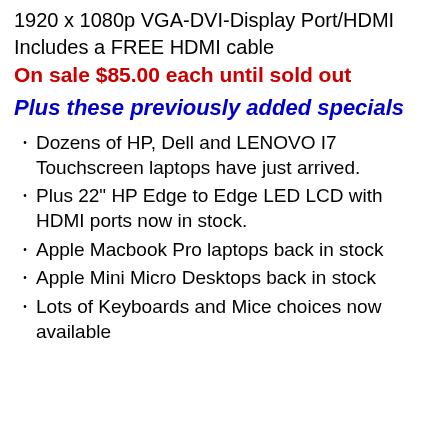1920 x 1080p VGA-DVI-Display Port/HDMI
Includes a FREE HDMI cable
On sale $85.00 each until sold out
Plus these previously added specials
Dozens of HP, Dell and LENOVO I7 Touchscreen laptops have just arrived.
Plus 22" HP Edge to Edge LED LCD with HDMI ports now in stock.
Apple Macbook Pro laptops back in stock
Apple Mini Micro Desktops back in stock
Lots of Keyboards and Mice choices now available